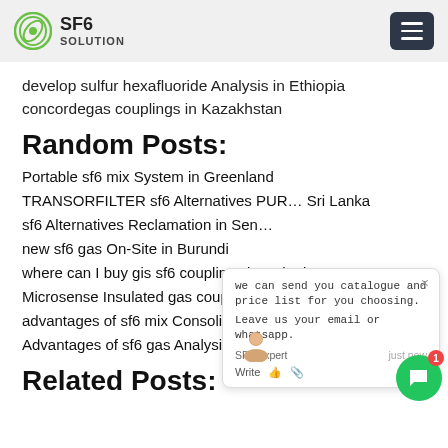SF6 SOLUTION
develop sulfur hexafluoride Analysis in Ethiopia concordegas couplings in Kazakhstan
Random Posts:
Portable sf6 mix System in Greenland
TRANSORFILTER sf6 Alternatives PUR... Sri Lanka
sf6 Alternatives Reclamation in Sen...
new sf6 gas On-Site in Burundi
where can I buy gis sf6 couplings in United States
Microsense Insulated gas couplings in Niger
advantages of sf6 mix Consolidation in Denmark
Advantages of sf6 gas Analysis in Laos
Related Posts: